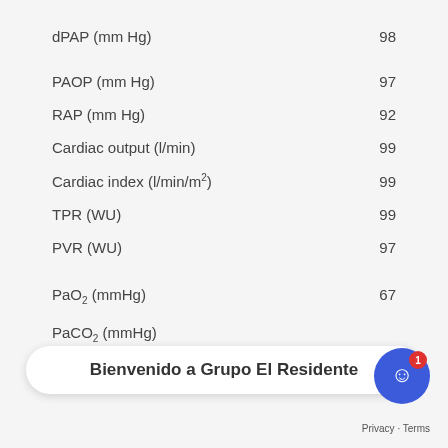dPAP (mm Hg)  98
PAOP (mm Hg)  97
RAP (mm Hg)  92
Cardiac output (l/min)  99
Cardiac index (l/min/m2)  99
TPR (WU)  99
PVR (WU)  97
PaO2 (mmHg)  67
Bienvenido a Grupo El Residente
PaCO2 (mmHg)